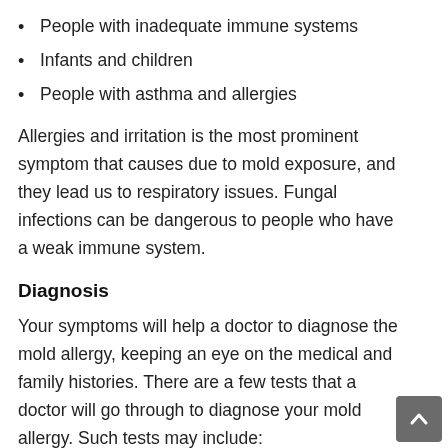People with inadequate immune systems
Infants and children
People with asthma and allergies
Allergies and irritation is the most prominent symptom that causes due to mold exposure, and they lead us to respiratory issues. Fungal infections can be dangerous to people who have a weak immune system.
Diagnosis
Your symptoms will help a doctor to diagnose the mold allergy, keeping an eye on the medical and family histories. There are a few tests that a doctor will go through to diagnose your mold allergy. Such tests may include:
A skin prick test. This test helps to determine the reactions to common